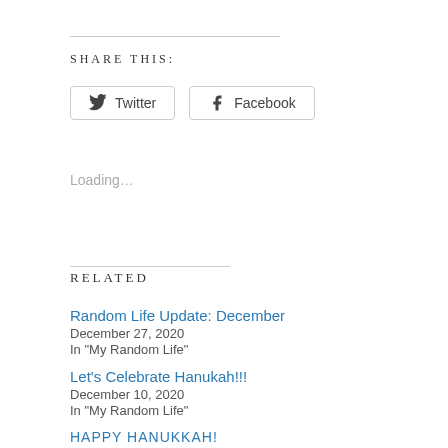SHARE THIS:
Twitter  Facebook
Loading…
RELATED
Random Life Update: December
December 27, 2020
In "My Random Life"
Let's Celebrate Hanukah!!!
December 10, 2020
In "My Random Life"
HAPPY HANUKKAH!
December 22, 2019
In "My Random Life"